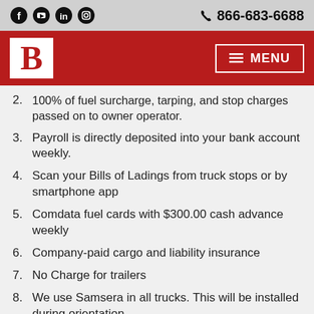866-683-6688
[Figure (logo): B logo with red letter on white background, navigation bar with MENU button]
2. 100% of fuel surcharge, tarping, and stop charges passed on to owner operator.
3. Payroll is directly deposited into your bank account weekly.
4. Scan your Bills of Ladings from truck stops or by smartphone app
5. Comdata fuel cards with $300.00 cash advance weekly
6. Company-paid cargo and liability insurance
7. No Charge for trailers
8. We use Samsera in all trucks. This will be installed during orientation.
9. Smart Drive free of charge and optional